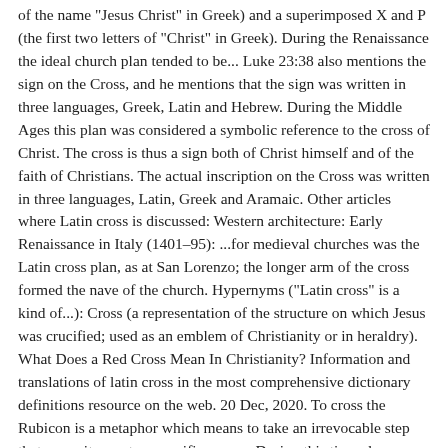of the name "Jesus Christ" in Greek) and a superimposed X and P (the first two letters of "Christ" in Greek). During the Renaissance the ideal church plan tended to be... Luke 23:38 also mentions the sign on the Cross, and he mentions that the sign was written in three languages, Greek, Latin and Hebrew. During the Middle Ages this plan was considered a symbolic reference to the cross of Christ. The cross is thus a sign both of Christ himself and of the faith of Christians. The actual inscription on the Cross was written in three languages, Latin, Greek and Aramaic. Other articles where Latin cross is discussed: Western architecture: Early Renaissance in Italy (1401–95): ...for medieval churches was the Latin cross plan, as at San Lorenzo; the longer arm of the cross formed the nave of the church. Hypernyms ("Latin cross" is a kind of...): Cross (a representation of the structure on which Jesus was crucified; used as an emblem of Christianity or in heraldry). What Does a Red Cross Mean In Christianity? Information and translations of latin cross in the most comprehensive dictionary definitions resource on the web. 20 Dec, 2020. To cross the Rubicon is a metaphor which means to take an irrevocable step that commits one to a specific course. During this time also, because of the decline of Greek and predominance of Latin, IHS was viewed as an acronym for the Latin Iesus Hominum Salvator, meaning "Jesus Savior of Mankind." A